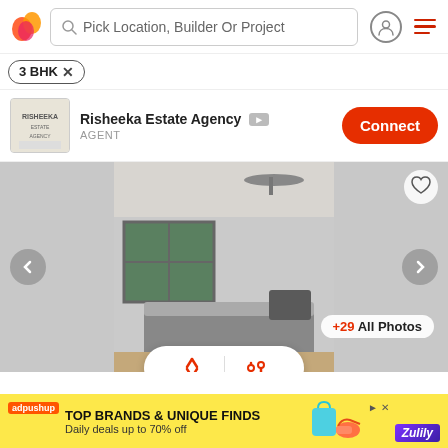Pick Location, Builder Or Project
3 BHK
Risheeka Estate Agency — AGENT — Connect
[Figure (photo): Interior photo of an empty bedroom with a platform bed, window, ceiling fan, grey walls. Navigation arrows on sides. +29 All Photos badge. Sort and filter controls at bottom.]
3 BHK Apartment 1,650 sq
₹1.4 L
Ansal H...rdi, Mumbai
3 BHK M...
More
[Figure (infographic): Advertisement banner: adpushup logo, TOP BRANDS & UNIQUE FINDS, Daily deals up to 70% off, shoe and bag image, Zulily logo, close button]